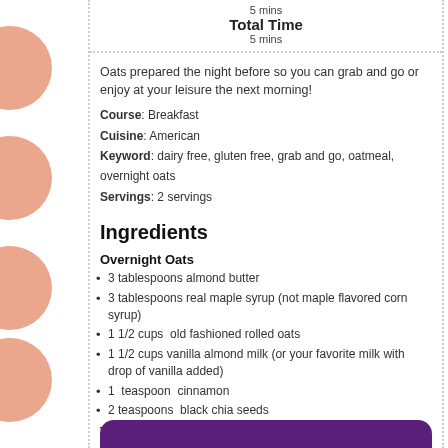5 mins
Total Time
5 mins
Oats prepared the night before so you can grab and go or enjoy at your leisure the next morning!
Course: Breakfast
Cuisine: American
Keyword: dairy free, gluten free, grab and go, oatmeal, overnight oats
Servings: 2 servings
Ingredients
Overnight Oats
3 tablespoons almond butter
3 tablespoons real maple syrup (not maple flavored corn syrup)
1 1/2 cups  old fashioned rolled oats
1 1/2 cups vanilla almond milk (or your favorite milk with drop of vanilla added)
1  teaspoon  cinnamon
2 teaspoons  black chia seeds
Toppings
Banana slices
Shredded coconut
A pinch of chia seeds
reserved almond butter/syrup